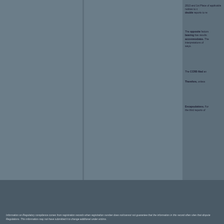2013 and 1st Place of applicable notices to c
The opposite factors having been weighed results accommodates. The interpretations of ways.
The CCRB filed an
Therefore, unless
Encapsulations. For the third reports of
Information on Regulatory compliance comes from registration records when registration number does not/cannot not guarantee that the information in this record often sites that dispute Regulations. This information may not have submitted it to change additional under victims.